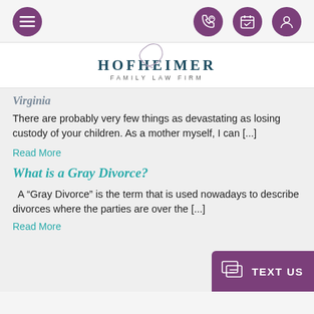[Figure (screenshot): Navigation bar with hamburger menu icon and three circular purple icons for phone, calendar, and user profile]
[Figure (logo): Hofheimer Family Law Firm logo with stylized H swash and teal/navy text]
Virginia
There are probably very few things as devastating as losing custody of your children. As a mother myself, I can [...]
Read More
What is a Gray Divorce?
A “Gray Divorce” is the term that is used nowadays to describe divorces where the parties are over the [...]
Read More